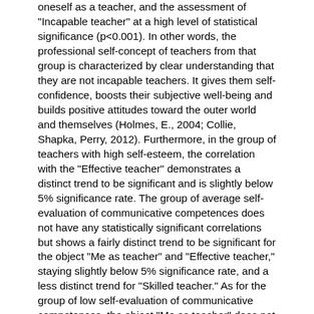oneself as a teacher, and the assessment of "Incapable teacher" at a high level of statistical significance (p<0.001). In other words, the professional self-concept of teachers from that group is characterized by clear understanding that they are not incapable teachers. It gives them self-confidence, boosts their subjective well-being and builds positive attitudes toward the outer world and themselves (Holmes, E., 2004; Collie, Shapka, Perry, 2012). Furthermore, in the group of teachers with high self-esteem, the correlation with the "Effective teacher" demonstrates a distinct trend to be significant and is slightly below 5% significance rate. The group of average self-evaluation of communicative competences does not have any statistically significant correlations but shows a fairly distinct trend to be significant for the object "Me as teacher" and "Effective teacher," staying slightly below 5% significance rate, and a less distinct trend for "Skilled teacher." As for the group of low self-evaluation of communicative competences, the object "Me as teacher" does not demonstrate even clear trends towards correlation with any object.